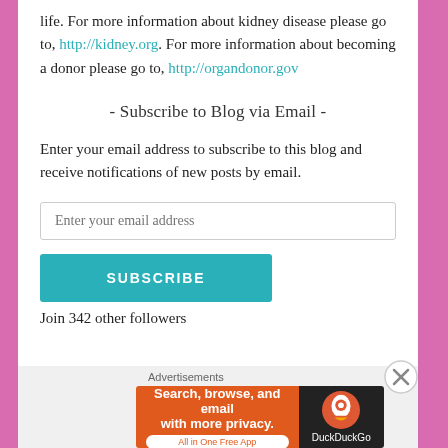life. For more information about kidney disease please go to, http://kidney.org. For more information about becoming a donor please go to, http://organdonor.gov
- Subscribe to Blog via Email -
Enter your email address to subscribe to this blog and receive notifications of new posts by email.
Enter your email address
SUBSCRIBE
Join 342 other followers
Advertisements
[Figure (other): DuckDuckGo advertisement banner: 'Search, browse, and email with more privacy. All in One Free App' with DuckDuckGo logo on dark background]